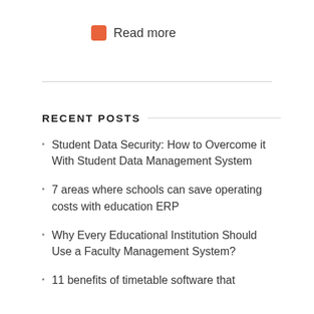Read more
RECENT POSTS
Student Data Security: How to Overcome it With Student Data Management System
7 areas where schools can save operating costs with education ERP
Why Every Educational Institution Should Use a Faculty Management System?
11 benefits of timetable software that